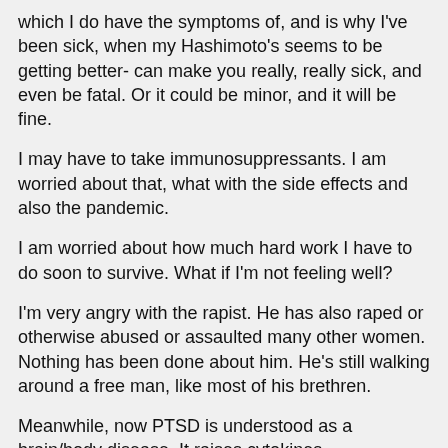which I do have the symptoms of, and is why I've been sick, when my Hashimoto's seems to be getting better- can make you really, really sick, and even be fatal. Or it could be minor, and it will be fine.
I may have to take immunosuppressants. I am worried about that, what with the side effects and also the pandemic.
I am worried about how much hard work I have to do soon to survive. What if I'm not feeling well?
I'm very angry with the rapist. He has also raped or otherwise abused or assaulted many other women. Nothing has been done about him. He's still walking around a free man, like most of his brethren.
Meanwhile, now PTSD is understood as a brain/body disease. It raises cytokines considerably, causing inflammation in the body, predisposing the sufferer to all sorts of diseases, particularly autoimmune diseases and cancer.